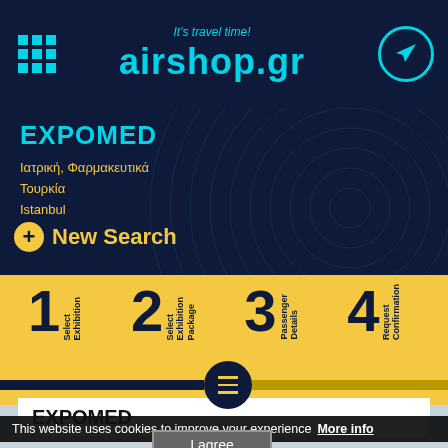It's travel time! airshop.gr
EXPOMED
Ιατρική, Φαρμακευτικά
Τουρκία
Istanbul
+ New Search
1 Select Exhibition   2 Select Exhibition Package   3 Passenger Details   4 Request Confirmation
EXPOMED
This website uses cookies to improve your experience   More info
I agree